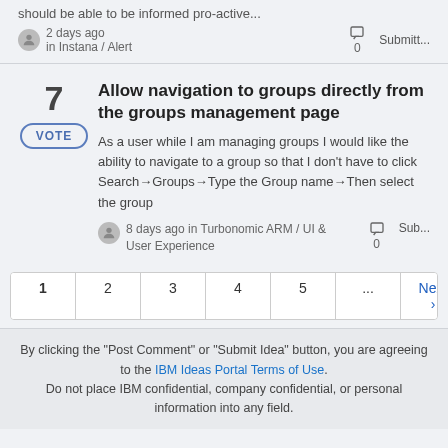should be able to be informed pro-active...
2 days ago in Instana / Alert   0   Submitt...
7
Allow navigation to groups directly from the groups management page
VOTE
As a user while I am managing groups I would like the ability to navigate to a group so that I don't have to click Search→Groups→Type the Group name→Then select the group
8 days ago in Turbonomic ARM / UI & User Experience   0   Sub...
1
2
3
4
5
...
Next ›
Last »
By clicking the "Post Comment" or "Submit Idea" button, you are agreeing to the IBM Ideas Portal Terms of Use. Do not place IBM confidential, company confidential, or personal information into any field.